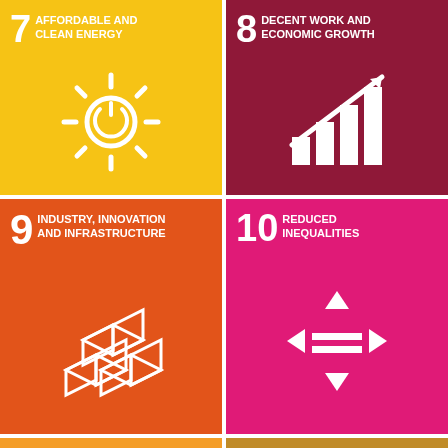[Figure (infographic): UN SDG 7 - Affordable and Clean Energy icon tile, yellow background with sun/power icon]
[Figure (infographic): UN SDG 8 - Decent Work and Economic Growth icon tile, dark red background with bar chart and arrow icon]
[Figure (infographic): UN SDG 9 - Industry, Innovation and Infrastructure icon tile, orange background with 3D cubes icon]
[Figure (infographic): UN SDG 10 - Reduced Inequalities icon tile, magenta background with arrows/equality icon]
[Figure (infographic): UN SDG 11 - Sustainable Cities and Communities icon tile, orange-yellow background]
[Figure (infographic): UN SDG 12 - Responsible Consumption and Production icon tile, olive/dark yellow background]